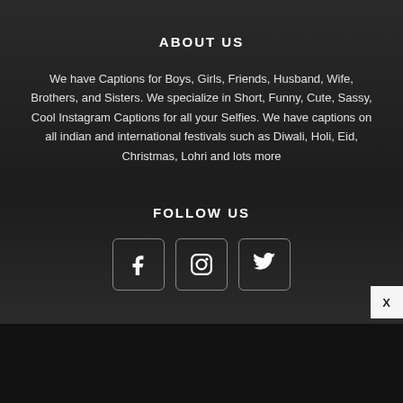ABOUT US
We have Captions for Boys, Girls, Friends, Husband, Wife, Brothers, and Sisters. We specialize in Short, Funny, Cute, Sassy, Cool Instagram Captions for all your Selfies. We have captions on all indian and international festivals such as Diwali, Holi, Eid, Christmas, Lohri and lots more
FOLLOW US
[Figure (infographic): Three social media icon buttons: Facebook (f), Instagram (camera icon), Twitter (bird icon), each in a square bordered box]